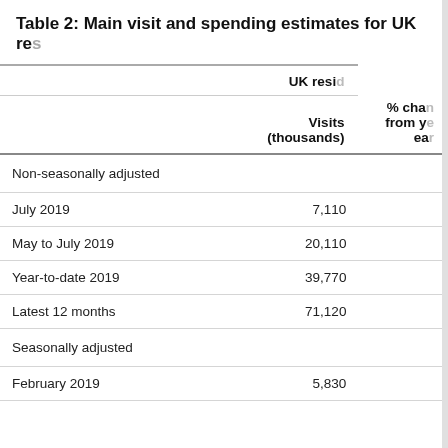Table 2: Main visit and spending estimates for UK res...
|  | Visits (thousands) | % cha from y ea... |
| --- | --- | --- |
| Non-seasonally adjusted |  |  |
| July 2019 | 7,110 |  |
| May to July 2019 | 20,110 |  |
| Year-to-date 2019 | 39,770 |  |
| Latest 12 months | 71,120 |  |
| Seasonally adjusted |  |  |
| February 2019 | 5,830 |  |